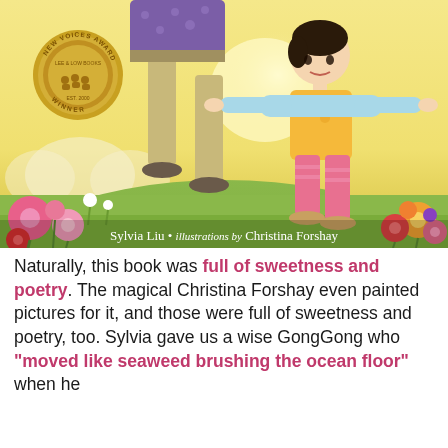[Figure (illustration): Book cover illustration showing a young Asian girl in a yellow top and pink pants doing a warrior yoga pose alongside an adult (GongGong) wearing purple shirt and beige pants, on a green meadow with colorful flowers. A gold 'New Voices Award Lee & Low Books Winner Est. 2000' medallion badge appears in the top left. Text at bottom reads 'Sylvia Liu • illustrations by Christina Forshay'.]
Naturally, this book was full of sweetness and poetry. The magical Christina Forshay even painted pictures for it, and those were full of sweetness and poetry, too. Sylvia gave us a wise GongGong who "moved like seaweed brushing the ocean floor" when he